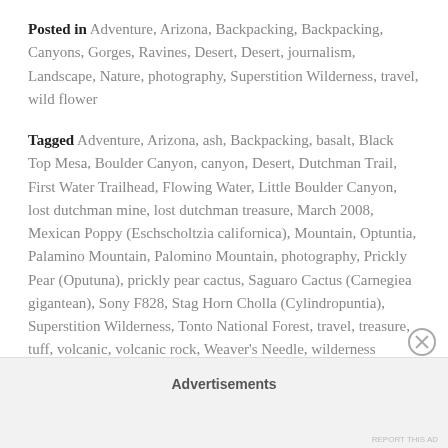Posted in Adventure, Arizona, Backpacking, Backpacking, Canyons, Gorges, Ravines, Desert, Desert, journalism, Landscape, Nature, photography, Superstition Wilderness, travel, wild flower
Tagged Adventure, Arizona, ash, Backpacking, basalt, Black Top Mesa, Boulder Canyon, canyon, Desert, Dutchman Trail, First Water Trailhead, Flowing Water, Little Boulder Canyon, lost dutchman mine, lost dutchman treasure, March 2008, Mexican Poppy (Eschscholtzia californica), Mountain, Optuntia, Palamino Mountain, Palomino Mountain, photography, Prickly Pear (Oputuna), prickly pear cactus, Saguaro Cactus (Carnegiea gigantean), Sony F828, Stag Horn Cholla (Cylindropuntia), Superstition Wilderness, Tonto National Forest, travel, treasure, tuff, volcanic, volcanic rock, Weaver's Needle, wilderness
Advertisements